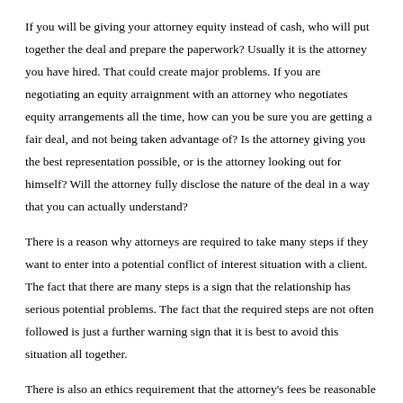If you will be giving your attorney equity instead of cash, who will put together the deal and prepare the paperwork? Usually it is the attorney you have hired. That could create major problems. If you are negotiating an equity arraignment with an attorney who negotiates equity arrangements all the time, how can you be sure you are getting a fair deal, and not being taken advantage of? Is the attorney giving you the best representation possible, or is the attorney looking out for himself? Will the attorney fully disclose the nature of the deal in a way that you can actually understand?
There is a reason why attorneys are required to take many steps if they want to enter into a potential conflict of interest situation with a client. The fact that there are many steps is a sign that the relationship has serious potential problems. The fact that the required steps are not often followed is just a further warning sign that it is best to avoid this situation all together.
There is also an ethics requirement that the attorney's fees be reasonable (In Washington see Ethics rule 1.5). What is a reasonable amount of equity to